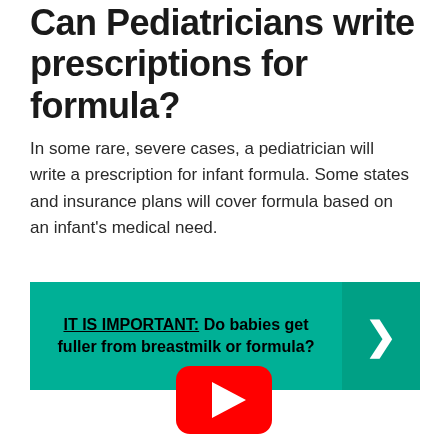Can Pediatricians write prescriptions for formula?
In some rare, severe cases, a pediatrician will write a prescription for infant formula. Some states and insurance plans will cover formula based on an infant's medical need.
IT IS IMPORTANT:  Do babies get fuller from breastmilk or formula?
[Figure (other): YouTube play button icon — red rounded rectangle with white triangle play arrow]